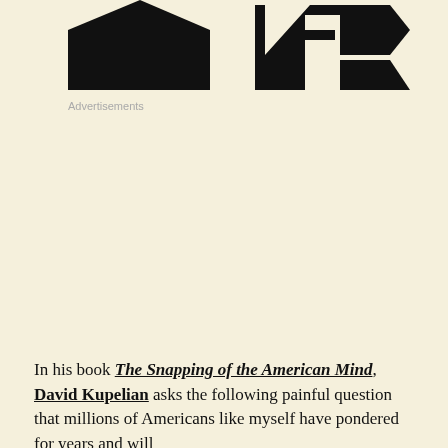[Figure (logo): Two large black logo/icon shapes at the top of the page on a cream/beige background]
Advertisements
In his book The Snapping of the American Mind, David Kupelian asks the following painful question that millions of Americans like myself have pondered for years and will